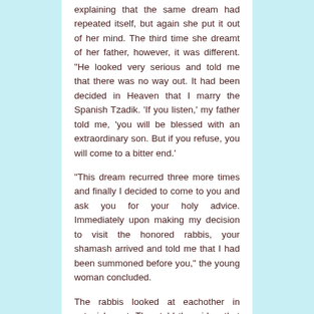explaining that the same dream had repeated itself, but again she put it out of her mind. The third time she dreamt of her father, however, it was different. "He looked very serious and told me that there was no way out. It had been decided in Heaven that I marry the Spanish Tzadik. 'If you listen,' my father told me, 'you will be blessed with an extraordinary son. But if you refuse, you will come to a bitter end.'
"This dream recurred three more times and finally I decided to come to you and ask you for your holy advice. Immediately upon making my decision to visit the honored rabbis, your shamash arrived and told me that I had been summoned before you," the young woman concluded.
The rabbis looked at eachother in astonishment. They told the widow that Yosef Yosfa had come to them and told them